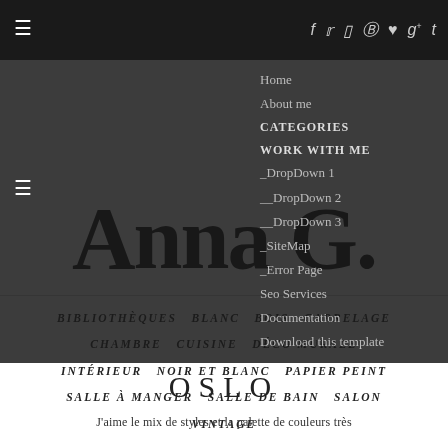f  ✿  ⊡  ℗  ♥  g+  t
Home
About me
CATEGORIES
WORK WITH ME
_DropDown 1
__DropDown 2
__DropDown 3
_SiteMap
_Error Page
Seo Services
Documentation
Download this template
Anna G.
BIBLIOTHÈQUES   BLANC   BOIS   CARRELAGE
CHAMBRE   CUISINE   DÉCO MURALE
INTÉRIEUR   NOIR ET BLANC   PAPIER PEINT
SALLE À MANGER   SALLE DE BAIN   SALON
VINTAGE
OSLO
J'aime le mix de styles et la palette de couleurs très